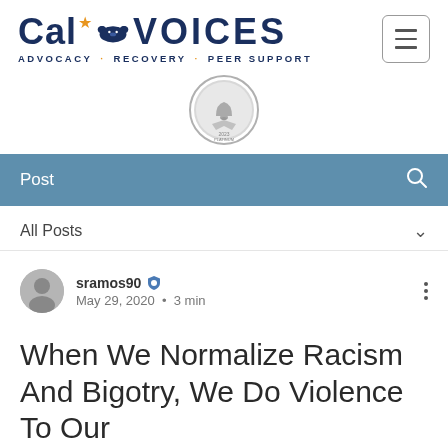[Figure (logo): Cal Voices logo with bear icon, star, and tagline 'ADVOCACY · RECOVERY · PEER SUPPORT']
[Figure (illustration): Silver/platinum seal badge or award medallion]
Post
All Posts
sramos90  May 29, 2020 · 3 min
When We Normalize Racism And Bigotry, We Do Violence To Our